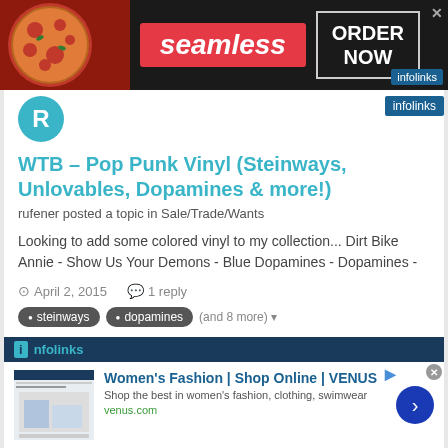[Figure (screenshot): Seamless food delivery advertisement banner with pizza image on left, Seamless logo in center on red background, ORDER NOW box on right]
[Figure (logo): infolinks logo badge in top right]
[Figure (illustration): Circular avatar with letter R in teal/cyan color]
WTB – Pop Punk Vinyl (Steinways, Unlovables, Dopamines & more!)
rufener posted a topic in Sale/Trade/Wants
Looking to add some colored vinyl to my collection... Dirt Bike Annie - Show Us Your Demons - Blue Dopamines - Dopamines -
April 2, 2015   1 reply
steinways   dopamines   (and 8 more)
[Figure (screenshot): infolinks advertisement bar]
[Figure (screenshot): VENUS women's fashion advertisement with website thumbnail, heading 'Women's Fashion | Shop Online | VENUS', description 'Shop the best in women's fashion, clothing, swimwear', URL venus.com, and blue arrow button]